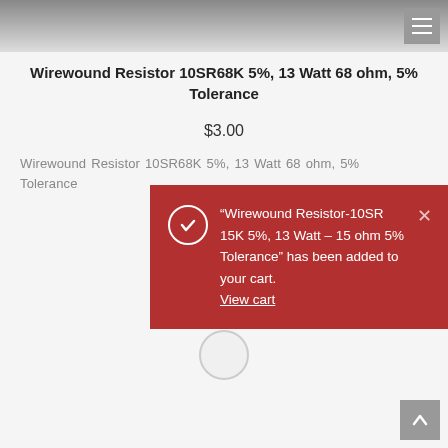[Figure (photo): Product image of wirewound resistor component, dark/grey tones at top of page]
Wirewound Resistor 10SR68K 5%, 13 Watt 68 ohm, 5% Tolerance
$3.00
Wirewound Resistor 10SR68K 5%, 13 Watt 68 ohm, 5% Tolerance
“Wirewound Resistor-10SR 15K 5%, 13 Watt – 15 ohm 5% Tolerance” has been added to your cart. View cart